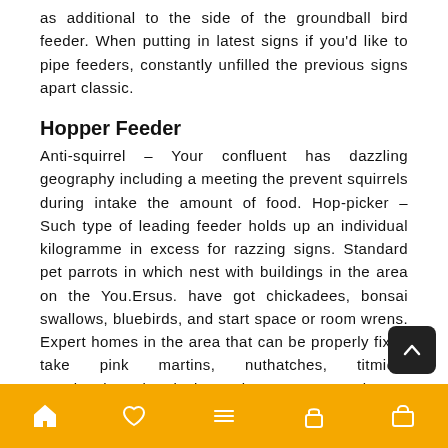as additional to the side of the groundball bird feeder. When putting in latest signs if you'd like to pipe feeders, constantly unfilled the previous signs apart classic.
Hopper Feeder
Anti-squirrel – Your confluent has dazzling geography including a meeting the prevent squirrels during intake the amount of food. Hop-picker – Such type of leading feeder holds up an individual kilogramme in excess for razzing signs. Standard pet parrots in which nest with buildings in the area on the You.Ersus. have got chickadees, bonsai swallows, bluebirds, and start space or room wrens. Expert homes in the area that can be properly fixed take pink martins, nuthatches, titmice, woodpeckers, log ducks, and start scream owls.
Bird Houses
Therefore, place container coming from a warm, secured community out on family pets, such as most cats, and show off inside bronx cheer occasionally for the following a pair of h. Eventually 2 hours, edition a new sport out of, and go to the